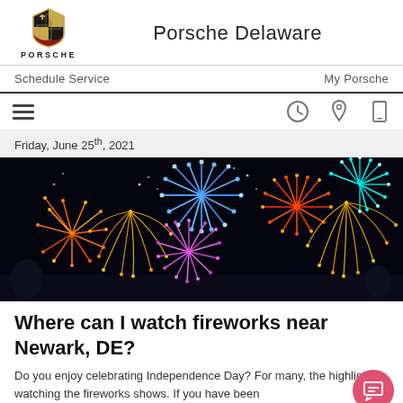Porsche Delaware
Schedule Service   My Porsche
[Figure (screenshot): Navigation icon bar with hamburger menu and clock, location, phone icons]
Friday, June 25th, 2021
[Figure (photo): Colorful fireworks display against a dark night sky]
Where can I watch fireworks near Newark, DE?
Do you enjoy celebrating Independence Day? For many, the highlight is watching the fireworks shows. If you have been